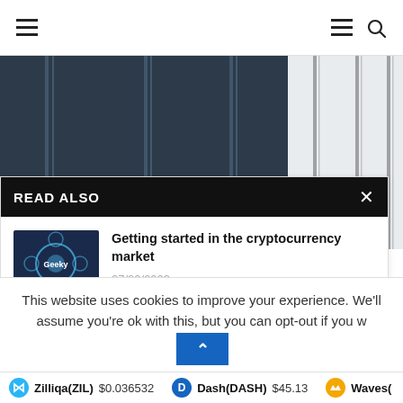Navigation bar with hamburger menus and search icon
[Figure (screenshot): Website screenshot showing a 'READ ALSO' panel with two cryptocurrency article links over a dark abstract background image. Right side shows vertical line decorative elements.]
READ ALSO
Getting started in the cryptocurrency market
27/02/2022
'Dogecoin Millionaire' Reveals The Cryptocurrency He Predicts
This website uses cookies to improve your experience. We'll assume you're ok with this, but you can opt-out if you w
Zilliqa(ZIL) $0.036532   Dash(DASH) $45.13   Waves(